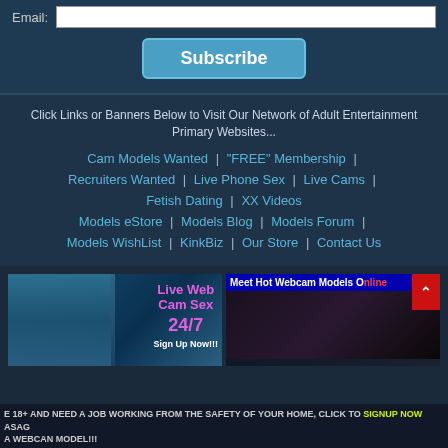Email:
Subscribe
Click Links or Banners Below to Visit Our Network of Adult Entertainment Primary Websites...
Cam Models Wanted | "FREE" Membership |
Recruiters Wanted | Live Phone Sex | Live Cams |
Fetish Dating | XX Videos
Models eStore | Models Blog | Models Forum |
Models WishList | KinkBiz | Our Store | Contact Us
[Figure (photo): Banner ad for Live Web Cam Sex 24/7 showing a woman and purple/pink text]
[Figure (photo): Banner ad for Meet Hot Webcam Models Online]
E 18+ AND NEED A JOB WORKING FROM THE SAFETY OF YOUR HOME, CLICK TO SIGNUP NOW ASAGO... A WEBCAN MODEL!!!